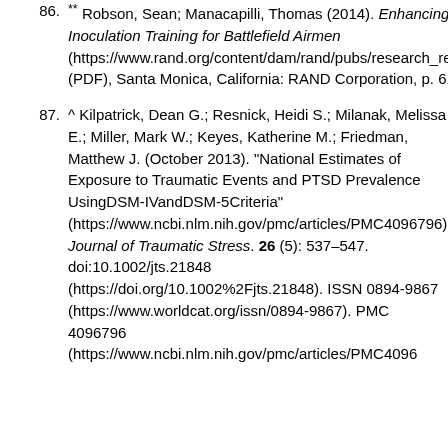86. ** Robson, Sean; Manacapilli, Thomas (2014). Enhancing Performance Under Stress: Stress Inoculation Training for Battlefield Airmen (https://www.rand.org/content/dam/rand/pubs/research_reports/RR700/RR750/RAND_RR750.pdf) (PDF), Santa Monica, California: RAND Corporation, p. 61, ISBN 9780833078445
87. ^ Kilpatrick, Dean G.; Resnick, Heidi S.; Milanak, Melissa E.; Miller, Mark W.; Keyes, Katherine M.; Friedman, Matthew J. (October 2013). "National Estimates of Exposure to Traumatic Events and PTSD Prevalence UsingDSM-IVandDSM-5Criteria" (https://www.ncbi.nlm.nih.gov/pmc/articles/PMC4096796). Journal of Traumatic Stress. 26 (5): 537–547. doi:10.1002/jts.21848 (https://doi.org/10.1002%2Fjts.21848). ISSN 0894-9867 (https://www.worldcat.org/issn/0894-9867). PMC 4096796 (https://www.ncbi.nlm.nih.gov/pmc/articles/PMC4096